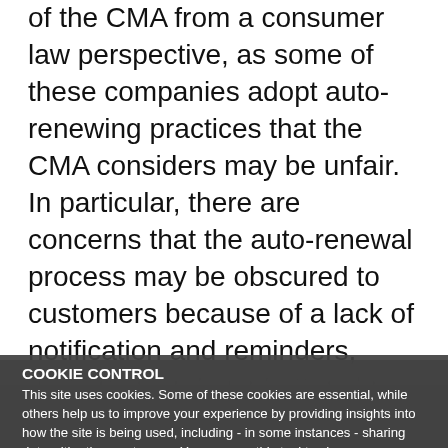of the CMA from a consumer law perspective, as some of these companies adopt auto-renewing practices that the CMA considers may be unfair. In particular, there are concerns that the auto-renewal process may be obscured to customers because of a lack of notification and reminders, and because players may be opted into auto-subscriptions by default. The CMA is also concerned with the fairness of the used with online memberships.
COOKIE CONTROL
This site uses cookies. Some of these cookies are essential, while others help us to improve your experience by providing insights into how the site is being used, including - in some instances - sharing data with other customers. You can use this tool to change your cookie settings. Otherwise, we'll assume you're OK to continue.
I'm fine with this
More details
On 26 January 2022, the CMA announced that it had secured undertakings from Microsoft to Nintendo, Sony; Premise is that auto-renewing subscriptions for Game Pass and Xbox Live Gold. Microsoft has now agreed to: